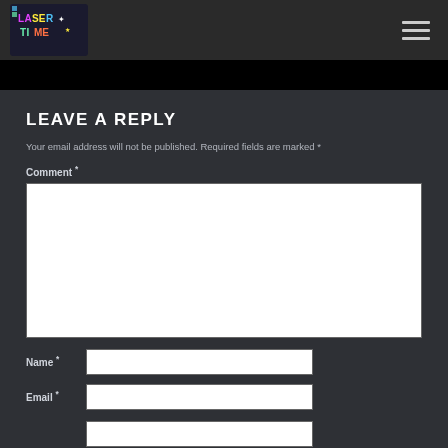[Figure (logo): Laser Time pixel art logo with colorful text on dark background]
LEAVE A REPLY
Your email address will not be published. Required fields are marked *
Comment *
Name *
Email *